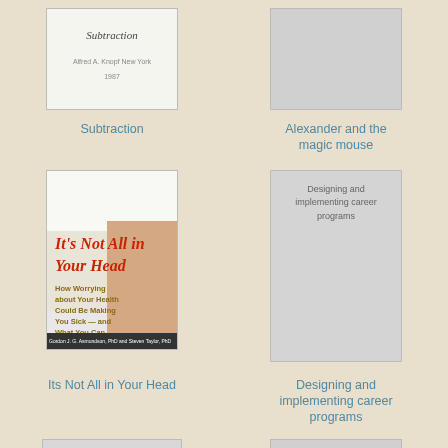[Figure (illustration): Book cover for Subtraction]
Subtraction
[Figure (illustration): Placeholder cover for Alexander and the magic mouse]
Alexander and the magic mouse
[Figure (photo): Book cover: Its Not All in Your Head - How Worrying about Your Health Could Be Making You Sick and What You Can Do about It, by Gordon J.G. Asmundson PhD and Steven Taylor PhD]
Its Not All in Your Head
[Figure (illustration): Placeholder cover for Designing and implementing career programs with text visible]
Designing and implementing career programs
[Figure (illustration): Book cover: THIS IS THE LIFE 2009 MINI WALL CALENDAR]
[Figure (illustration): Placeholder gray cover]